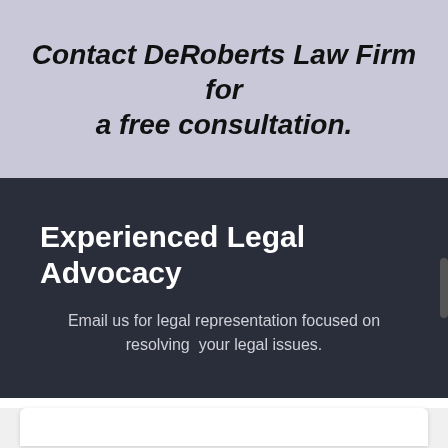Contact DeRoberts Law Firm for a free consultation.
Experienced Legal Advocacy
Email us for legal representation focused on resolving your legal issues.